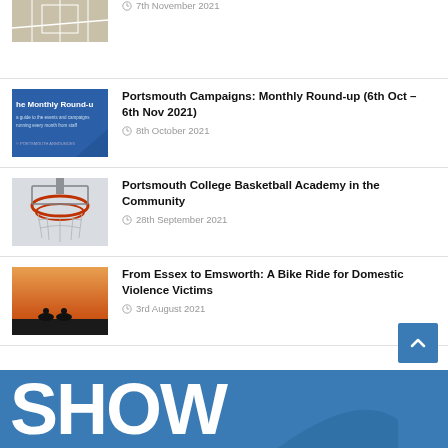[Figure (photo): Partial thumbnail of a sports court floor from above]
7th November 2021
[Figure (photo): Blue banner reading 'Monthly Round-up' with text below]
Portsmouth Campaigns: Monthly Round-up (6th Oct – 6th Nov 2021)
8th October 2021
[Figure (photo): Basketball hoop viewed from below with red ring visible]
Portsmouth College Basketball Academy in the Community
28th September 2021
[Figure (photo): Silhouette of two cyclists at sunset/dusk against orange sky]
From Essex to Emsworth: A Bike Ride for Domestic Violence Victims
3rd August 2021
[Figure (logo): Blue banner with large white text reading SHOW]